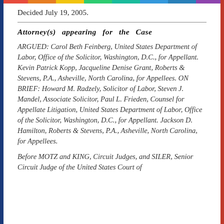Decided July 19, 2005.
Attorney(s) appearing for the Case
ARGUED: Carol Beth Feinberg, United States Department of Labor, Office of the Solicitor, Washington, D.C., for Appellant. Kevin Patrick Kopp, Jacqueline Denise Grant, Roberts & Stevens, P.A., Asheville, North Carolina, for Appellees. ON BRIEF: Howard M. Radzely, Solicitor of Labor, Steven J. Mandel, Associate Solicitor, Paul L. Frieden, Counsel for Appellate Litigation, United States Department of Labor, Office of the Solicitor, Washington, D.C., for Appellant. Jackson D. Hamilton, Roberts & Stevens, P.A., Asheville, North Carolina, for Appellees.
Before MOTZ and KING, Circuit Judges, and SILER, Senior Circuit Judge of the United States Court of